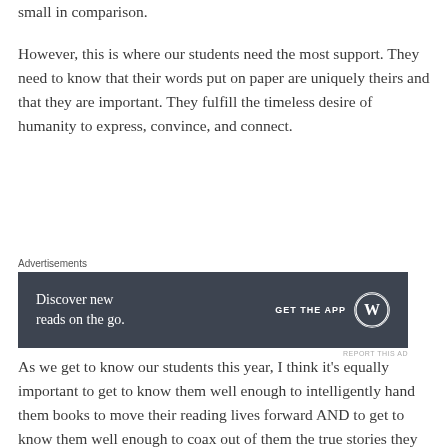small in comparison.
However, this is where our students need the most support. They need to know that their words put on paper are uniquely theirs and that they are important. They fulfill the timeless desire of humanity to express, convince, and connect.
[Figure (screenshot): Advertisement banner: Dark gray background with text 'Discover new reads on the go.' and 'GET THE APP' with WordPress logo on the right.]
As we get to know our students this year, I think it's equally important to get to know them well enough to intelligently hand them books to move their reading lives forward AND to get to know them well enough to coax out of them the true stories they have to tell.